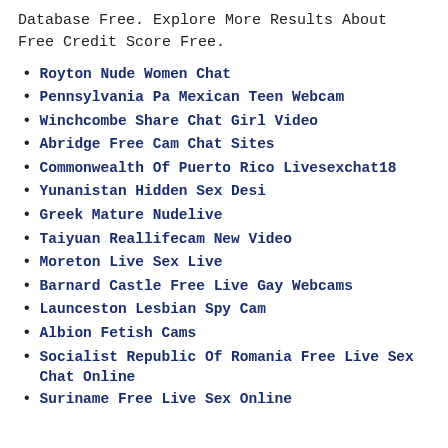Database Free. Explore More Results About Free Credit Score Free.
Royton Nude Women Chat
Pennsylvania Pa Mexican Teen Webcam
Winchcombe Share Chat Girl Video
Abridge Free Cam Chat Sites
Commonwealth Of Puerto Rico Livesexchat18
Yunanistan Hidden Sex Desi
Greek Mature Nudelive
Taiyuan Reallifecam New Video
Moreton Live Sex Live
Barnard Castle Free Live Gay Webcams
Launceston Lesbian Spy Cam
Albion Fetish Cams
Socialist Republic Of Romania Free Live Sex Chat Online
Suriname Free Live Sex Online